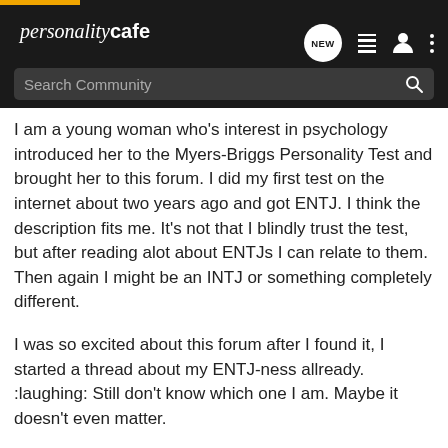personality cafe
I am a young woman who's interest in psychology introduced her to the Myers-Briggs Personality Test and brought her to this forum. I did my first test on the internet about two years ago and got ENTJ. I think the description fits me. It's not that I blindly trust the test, but after reading alot about ENTJs I can relate to them. Then again I might be an INTJ or something completely different.
I was so excited about this forum after I found it, I started a thread about my ENTJ-ness allready. :laughing: Still don't know which one I am. Maybe it doesn't even matter.
My other interests are sports, music and .. well that's it. I could do sports all day, everyday. Satisfyes my need to excel sometyhing. And music is just beautiful. I can play an